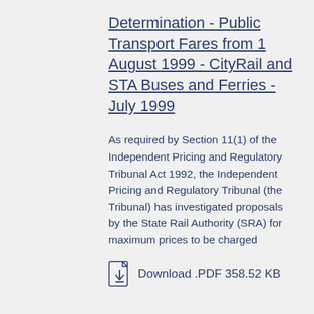Determination - Public Transport Fares from 1 August 1999 - CityRail and STA Buses and Ferries - July 1999
As required by Section 11(1) of the Independent Pricing and Regulatory Tribunal Act 1992, the Independent Pricing and Regulatory Tribunal (the Tribunal) has investigated proposals by the State Rail Authority (SRA) for maximum prices to be charged
Download .PDF 358.52 KB